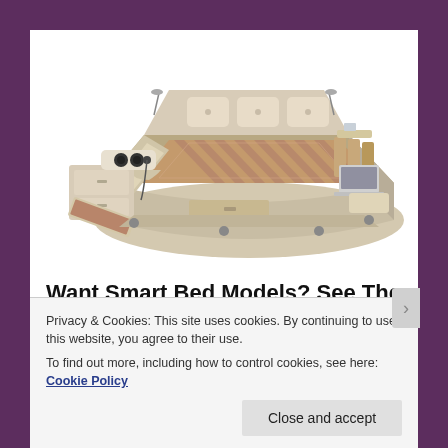[Figure (photo): A luxurious smart bed with multiple features including built-in speakers, drawers, massage chair attachment, laptop stand, reading lamps, and storage compartments, shown in cream/beige leather finish]
Want Smart Bed Models? See The Models
Privacy & Cookies: This site uses cookies. By continuing to use this website, you agree to their use.
To find out more, including how to control cookies, see here: Cookie Policy